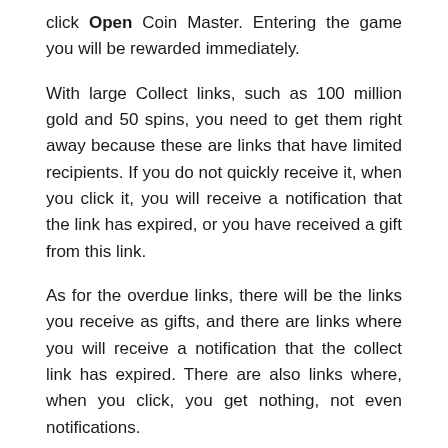click Open Coin Master. Entering the game you will be rewarded immediately.
With large Collect links, such as 100 million gold and 50 spins, you need to get them right away because these are links that have limited recipients. If you do not quickly receive it, when you click it, you will receive a notification that the link has expired, or you have received a gift from this link.
As for the overdue links, there will be the links you receive as gifts, and there are links where you will receive a notification that the collect link has expired. There are also links where, when you click, you get nothing, not even notifications.
If you are having trouble with the above spins applications. Click on the link below to go to the page for spins and gold.